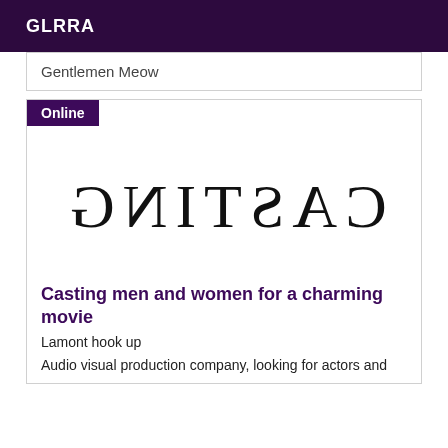GLRRA
Gentlemen Meow
Online
[Figure (illustration): The word CASTING displayed in mirrored/reversed serif letters]
Casting men and women for a charming movie
Lamont hook up
Audio visual production company, looking for actors and